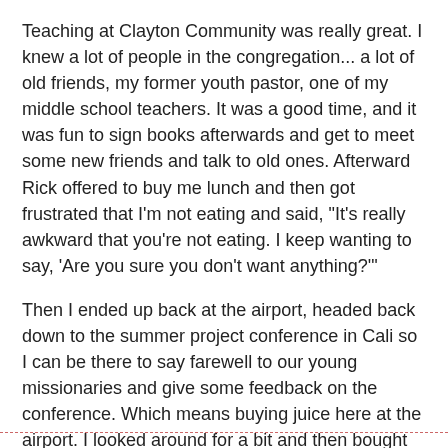Teaching at Clayton Community was really great. I knew a lot of people in the congregation... a lot of old friends, my former youth pastor, one of my middle school teachers. It was a good time, and it was fun to sign books afterwards and get to meet some new friends and talk to old ones. Afterward Rick offered to buy me lunch and then got frustrated that I'm not eating and said, "It's really awkward that you're not eating. I keep wanting to say, 'Are you sure you don't want anything?'"
Then I ended up back at the airport, headed back down to the summer project conference in Cali so I can be there to say farewell to our young missionaries and give some feedback on the conference. Which means buying juice here at the airport. I looked around for a bit and then bought some juice. Or rather, I bought a smoothie. On accident. Which led me to the question, "Does drinking a smoothie count as eating something?" I certainly hope not. I guess the five dollar price tag should have clued me in, but it is, after all, an airport.